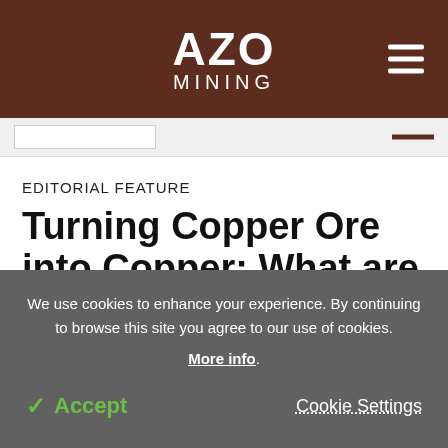AZO MINING
EDITORIAL FEATURE
Turning Copper Ore into Copper: What are the
We use cookies to enhance your experience. By continuing to browse this site you agree to our use of cookies. More info.
✓ Accept   Cookie Settings